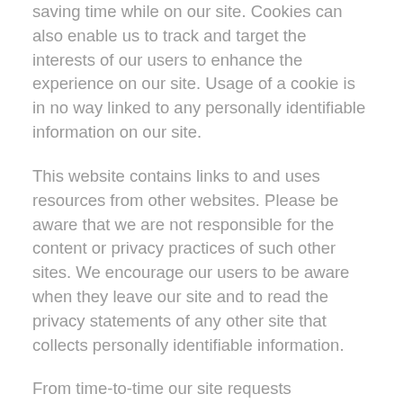saving time while on our site. Cookies can also enable us to track and target the interests of our users to enhance the experience on our site. Usage of a cookie is in no way linked to any personally identifiable information on our site.
This website contains links to and uses resources from other websites. Please be aware that we are not responsible for the content or privacy practices of such other sites. We encourage our users to be aware when they leave our site and to read the privacy statements of any other site that collects personally identifiable information.
From time-to-time our site requests information via surveys, reviews or ratings. Participation in these are completely voluntary and you may choose whether or not to participate and therefore disclose this information. Information requested may include contact information and demographic information. Contact information may be used when following up on an issue or concern raised from the survey or review. Survey information will be used for purposes of monitoring or improving the use and satisfaction of the properties we manage and of our